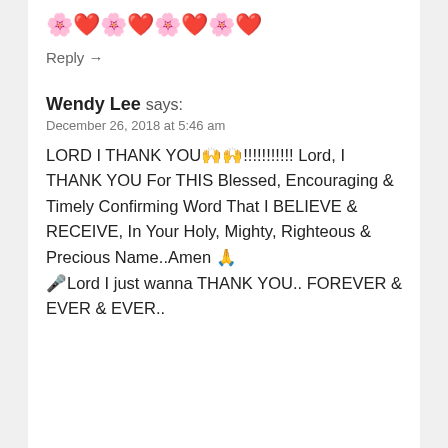🌸❤️🌸❤️🌸❤️🌸❤️
Reply →
Wendy Lee says:
December 26, 2018 at 5:46 am
LORD I THANK YOU🙌🙌!!!!!!!!!!! Lord, I THANK YOU For THIS Blessed, Encouraging & Timely Confirming Word That I BELIEVE & RECEIVE, In Your Holy, Mighty, Righteous & Precious Name..Amen 🙏 🎤Lord I just wanna THANK YOU.. FOREVER & EVER & EVER..